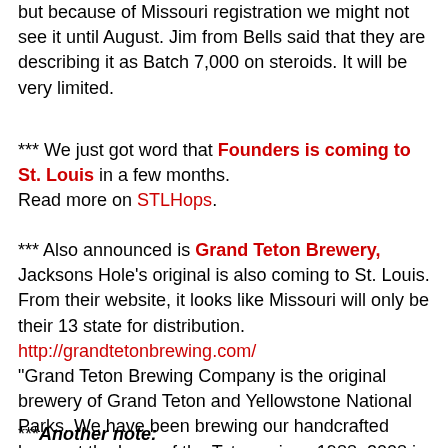but because of Missouri registration we might not see it until August. Jim from Bells said that they are describing it as Batch 7,000 on steroids. It will be very limited.
*** We just got word that Founders is coming to St. Louis in a few months.
Read more on STLHops.
*** Also announced is Grand Teton Brewery, Jacksons Hole's original is also coming to St. Louis. From their website, it looks like Missouri will only be their 13 state for distribution.
http://grandtetonbrewing.com/
"Grand Teton Brewing Company is the original brewery of Grand Teton and Yellowstone National Parks. We have been brewing our handcrafted beers at the base of the Tetons since 1988. 2008 is our 20th Anniversary ! " --brewery
***Another note: